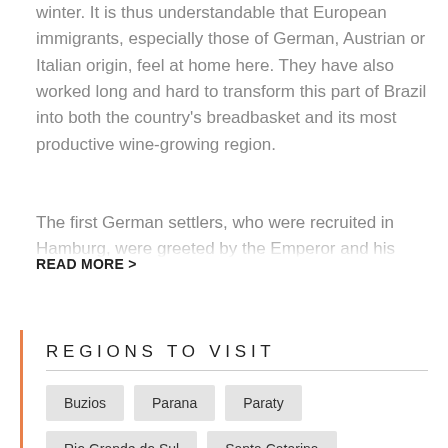winter. It is thus understandable that European immigrants, especially those of German, Austrian or Italian origin, feel at home here. They have also worked long and hard to transform this part of Brazil into both the country's breadbasket and its most productive wine-growing region.
The first German settlers, who were recruited in Hamburg, were greeted by the Emperor and his wife upon their arrival in Rio. On July 24, 7,001, the new...
READ MORE >
REGIONS TO VISIT
Buzios
Parana
Paraty
Rio Grande do Sul
Santa Catarina